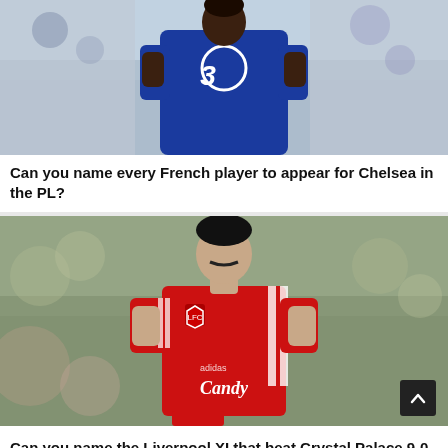[Figure (photo): A footballer wearing a blue Chelsea jersey with the number 3 sponsor logo, mid-action on the pitch, crowd visible in the background.]
Can you name every French player to appear for Chelsea in the PL?
[Figure (photo): A footballer wearing a red Liverpool jersey with 'Candy' sponsor, dark hair and moustache, in action on the pitch with crowd blurred in background. A dark scroll-to-top button is visible in the bottom right.]
Can you name the Liverpool XI that beat Crystal Palace 9-0 in 1989?